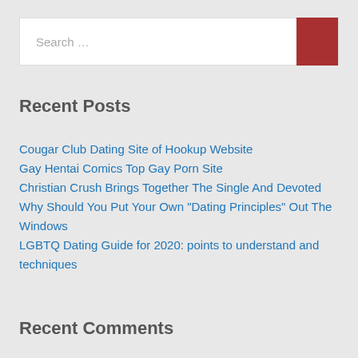Search …
Recent Posts
Cougar Club Dating Site of Hookup Website
Gay Hentai Comics Top Gay Porn Site
Christian Crush Brings Together The Single And Devoted
Why Should You Put Your Own "Dating Principles" Out The Windows
LGBTQ Dating Guide for 2020: points to understand and techniques
Recent Comments